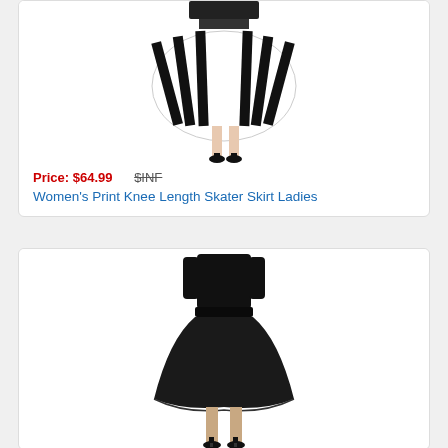[Figure (photo): Product photo of a black and white striped piano-key print knee length skater skirt worn by a model, showing lower body]
Price: $64.99   $INF
Women's Print Knee Length Skater Skirt Ladies
[Figure (photo): Product photo of a black flared/skater skirt worn by a model showing backside view, model wearing black top and black heels]